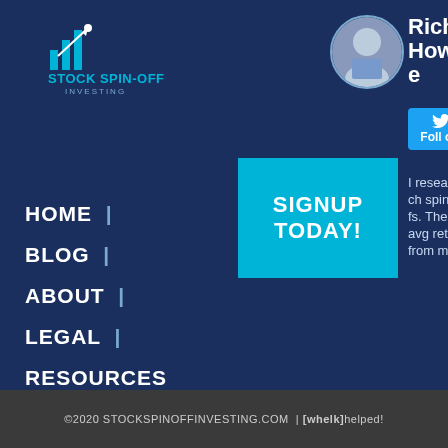[Figure (logo): Stock Spin-Off Investing logo with rocket and bar chart icon, text: STOCK SPIN-OFF INVESTING]
[Figure (photo): Circular profile photo of Rich Howe]
Rich Howe
[Figure (other): Twitter follow button with bird icon]
I research spinoffs. The avg return from my
HOME  |
BLOG  |
ABOUT  |
LEGAL  |
RESOURCES
[Figure (other): Cyan signup button with text SIGNUP TODAY!]
©2020 STOCKSPINOFFINVESTING.COM | [whelk] helped!